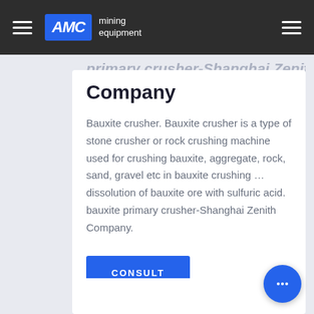AMC mining equipment
Company
Bauxite crusher. Bauxite crusher is a type of stone crusher or rock crushing machine used for crushing bauxite, aggregate, rock, sand, gravel etc in bauxite crushing … dissolution of bauxite ore with sulfuric acid. bauxite primary crusher-Shanghai Zenith Company.
CONSULT